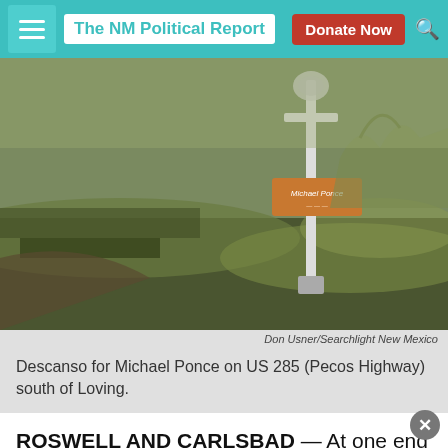The NM Political Report
[Figure (photo): Descanso roadside memorial marker with a wooden sign reading 'Michael Ponce' on a cross, set against a grassy New Mexico landscape.]
Don Usner/Searchlight New Mexico
Descanso for Michael Ponce on US 285 (Pecos Highway) south of Loving.
ROSWELL AND CARLSBAD — At one end of Pauline and Joe Ponce's spacious dining room in Roswell lies a cabinet crowded with photographs and mementos of their son, Michael. An old wrestling match program rests amid snapshots of Michael with his daughter, his